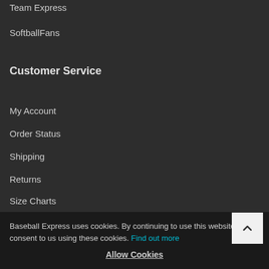Team Express
SoftballFans
Customer Service
My Account
Order Status
Shipping
Returns
Size Charts
Contact Us
Help
Privacy Policy
Accessibility
Baseball Express uses cookies. By continuing to use this website, you consent to us using these cookies. Find out more
Allow Cookies